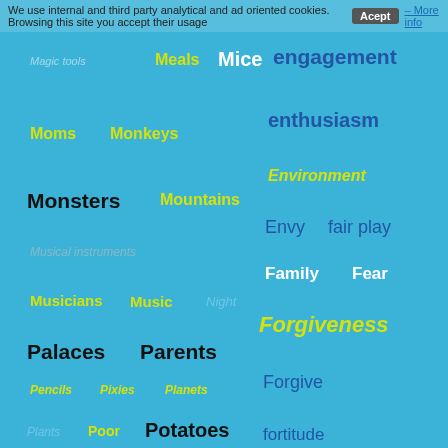We use internal and third party analytical and ad oriented cookies. Browsing this site you accept their usage  Acept – More info
Magic tools
Meals
Mice
engagement
enthusiasm
Moms
Monkeys
Environment
Monsters
Mountains
Envy
fair play
Musical instruments
Family
Fear
Musicians
Music
Night
Forgiveness
Palaces
Parents
Forgive
Pencils
Pixies
Planets
fortitude
Plants
Poor
Potatoes